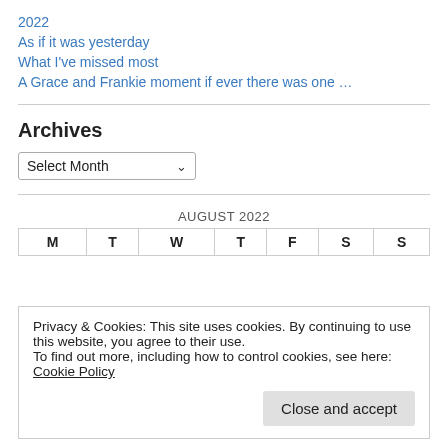2022
As if it was yesterday
What I've missed most
A Grace and Frankie moment if ever there was one …
Archives
Select Month
AUGUST 2022
| M | T | W | T | F | S | S |
| --- | --- | --- | --- | --- | --- | --- |
Privacy & Cookies: This site uses cookies. By continuing to use this website, you agree to their use.
To find out more, including how to control cookies, see here: Cookie Policy
Close and accept
« Feb